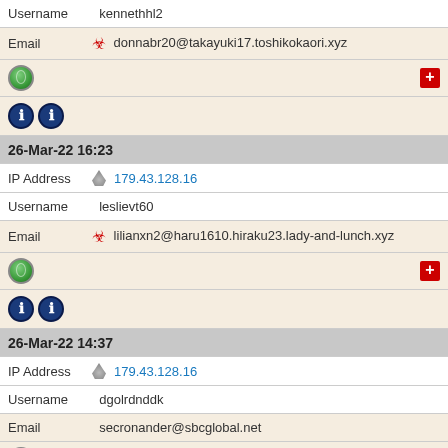Username  kennethhl2
Email  donnabr20@takayuki17.toshikokaori.xyz
[Figure (other): Globe icon and red plus icon row]
[Figure (other): Two info icons row]
26-Mar-22 16:23
IP Address  179.43.128.16
Username  leslievt60
Email  lilianxn2@haru1610.hiraku23.lady-and-lunch.xyz
[Figure (other): Globe icon and red plus icon row]
[Figure (other): Two info icons row]
26-Mar-22 14:37
IP Address  179.43.128.16
Username  dgolrdnddk
Email  secronander@sbcglobal.net
[Figure (other): Globe icon and red plus icon row]
[Figure (other): One info icon row]
26-Mar-22 10:35